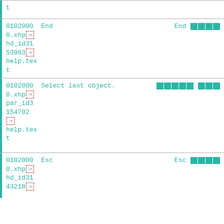| t |  |
| 0102000  End
0.xhp [icon]
hd_id31
53963 [icon]
help.text
t | End [kanji] |
| 0102000  Select last object.
0.xhp [icon]
par_id3
154702
[icon]
help.text
t | [kanji][kanji] |
| 0102000  Esc
0.xhp [icon]
hd_id31
43218 [icon] | Esc [kanji] |